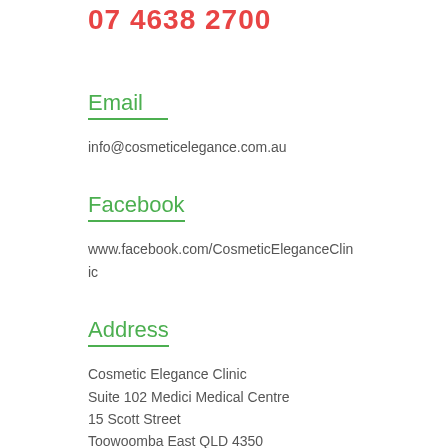07 4638 2700
Email
info@cosmeticelegance.com.au
Facebook
www.facebook.com/CosmeticEleganceClinic
Address
Cosmetic Elegance Clinic
Suite 102 Medici Medical Centre
15 Scott Street
Toowoomba East QLD 4350
Parking
Basement parking available off Scott Street